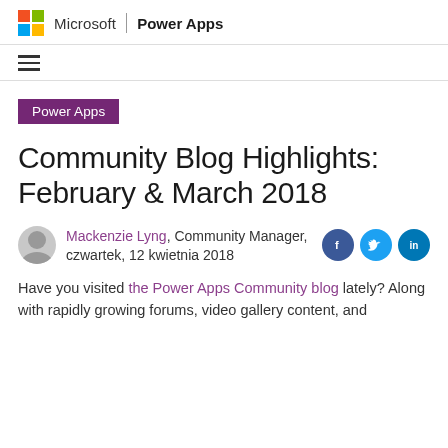Microsoft | Power Apps
Power Apps
Community Blog Highlights: February & March 2018
Mackenzie Lyng, Community Manager, czwartek, 12 kwietnia 2018
Have you visited the Power Apps Community blog lately? Along with rapidly growing forums, video gallery content, and